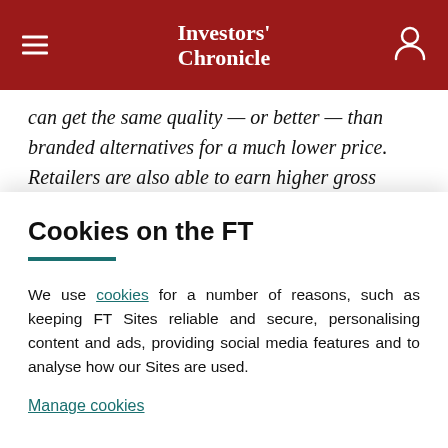Investors' Chronicle
can get the same quality — or better — than branded alternatives for a much lower price. Retailers are also able to earn higher gross margins than they get from selling branded brands as they can set their own...
Cookies on the FT
We use cookies for a number of reasons, such as keeping FT Sites reliable and secure, personalising content and ads, providing social media features and to analyse how our Sites are used.
Manage cookies
Accept & continue